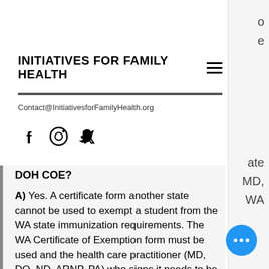INITIATIVES FOR FAMILY HEALTH
Contact@InitiativesforFamilyHealth.org
DOH COE?
A) Yes. A certificate form another state cannot be used to exempt a student from the WA state immunization requirements. The WA Certificate of Exemption form must be used and the health care practitioner (MD, DO, ND, ARNP, PA) who signs it needs to be licensed in WA. RCW 28A.210.
o e ate MD, WA